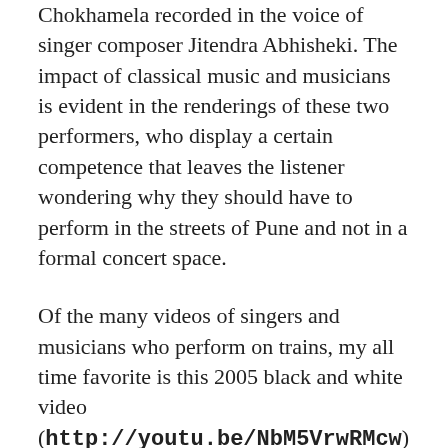Chokhamela recorded in the voice of singer composer Jitendra Abhisheki. The impact of classical music and musicians is evident in the renderings of these two performers, who display a certain competence that leaves the listener wondering why they should have to perform in the streets of Pune and not in a formal concert space.
Of the many videos of singers and musicians who perform on trains, my all time favorite is this 2005 black and white video (http://youtu.be/NbM5VrwRMcw) of a young Punjabi singer on a train from Delhi to Ferozepur, posted by one Kanwal Dhaliwal. The young singer plays a ravanhatha, more often seen and heard in the folk music of Rajasthan, and sings a melodramatic Punjabi song recorded originally by popular singer from the state, Master Saleem. Ki hoya tere lag gayi mehndi, assi vi sehre laavange, biraha pindon gham di dulhan de sang vyaah karvavange ! So what if you already have mehndi on your hands, I too will always come along, I will walk the...